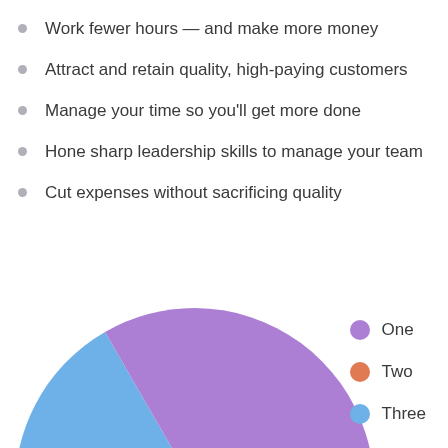Work fewer hours — and make more money
Attract and retain quality, high-paying customers
Manage your time so you'll get more done
Hone sharp leadership skills to manage your team
Cut expenses without sacrificing quality
[Figure (pie-chart): ]